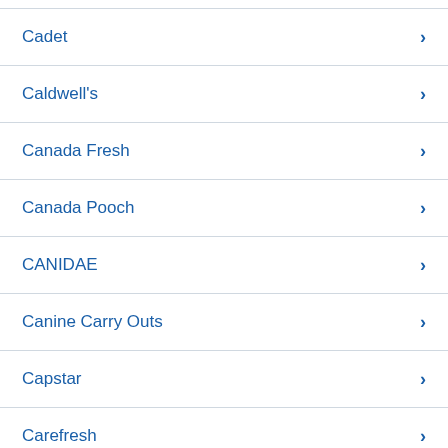Cadet
Caldwell's
Canada Fresh
Canada Pooch
CANIDAE
Canine Carry Outs
Capstar
Carefresh